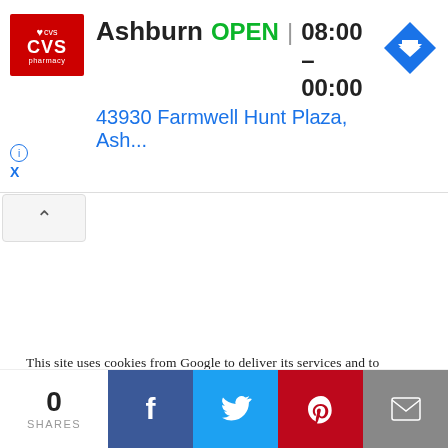[Figure (screenshot): CVS Pharmacy advertisement banner showing Ashburn location: OPEN 08:00 - 00:00, address 43930 Farmwell Hunt Plaza, Ash... with CVS logo on left and navigation arrow icon on right]
[Figure (screenshot): Collapse/minimize button with upward chevron (^)]
This site uses cookies from Google to deliver its services and to analyze traffic. Your IP address and user-agent are shared with Google along with performance and security metrics to ensure quality of service, generate usage statistics, and to detect and address abuse.
[Figure (photo): Two partial photos side by side — left shows a light pink/beige scene with 'FUZZY' text overlay, right shows a similar light-toned scene]
[Figure (infographic): Social share bar at bottom: 0 SHARES count, followed by Facebook (blue), Twitter (light blue), Pinterest (red), and Email (gray) share buttons]